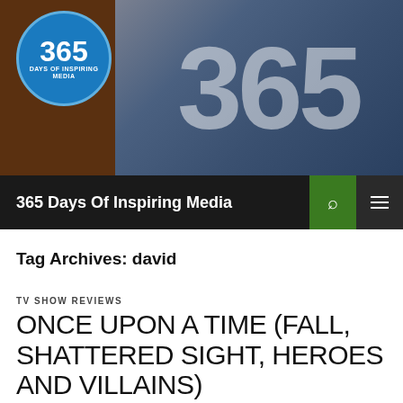[Figure (screenshot): Website header banner for '365 Days Of Inspiring Media' with a circular logo on the left showing '365 DAYS OF INSPIRING MEDIA' and large '365' numerals in the banner background]
365 Days Of Inspiring Media
Tag Archives: david
TV SHOW REVIEWS
ONCE UPON A TIME (FALL, SHATTERED SIGHT, HEROES AND VILLAINS)
APRIL 6, 2015  JOSH  LEAVE A COMMENT